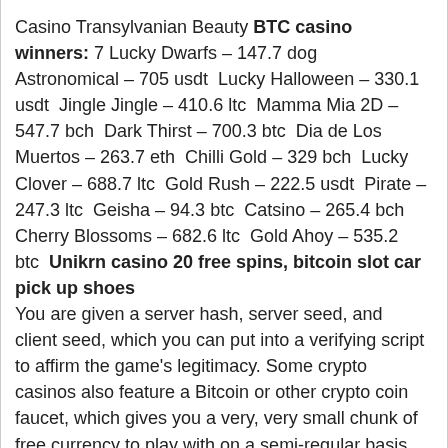Casino Transylvanian Beauty BTC casino winners: 7 Lucky Dwarfs – 147.7 dog  Astronomical – 705 usdt  Lucky Halloween – 330.1 usdt  Jingle Jingle – 410.6 ltc  Mamma Mia 2D – 547.7 bch  Dark Thirst – 700.3 btc  Dia de Los Muertos – 263.7 eth  Chilli Gold – 329 bch  Lucky Clover – 688.7 ltc  Gold Rush – 222.5 usdt  Pirate – 247.3 ltc  Geisha – 94.3 btc  Catsino – 265.4 bch  Cherry Blossoms – 682.6 ltc  Gold Ahoy – 535.2 btc  Unikrn casino 20 free spins, bitcoin slot car pick up shoes
You are given a server hash, server seed, and client seed, which you can put into a verifying script to affirm the game's legitimacy. Some crypto casinos also feature a Bitcoin or other crypto coin faucet, which gives you a very, very small chunk of free currency to play with on a semi-regular basis, bitcoin slot machine vector free. This may be supported by ads, special offers, surveys, and other things you might not want to mess with but it'll give you a little bit of coin to start gambling with if you don't want to empty your own wallet. Finally, be aware that regional